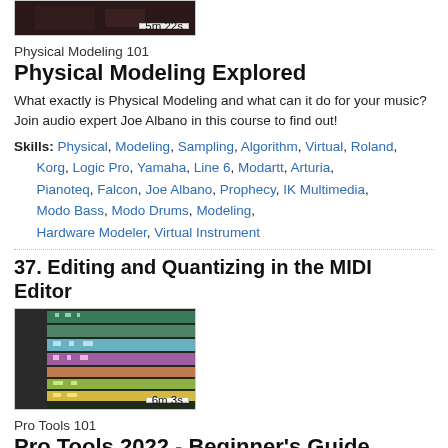[Figure (screenshot): Thumbnail for Physical Modeling 101 course video with time badge '5m 22s']
Physical Modeling 101
Physical Modeling Explored
What exactly is Physical Modeling and what can it do for your music? Join audio expert Joe Albano in this course to find out!
Skills: Physical, Modeling, Sampling, Algorithm, Virtual, Roland, Korg, Logic Pro, Yamaha, Line 6, Modartt, Arturia, Pianoteq, Falcon, Joe Albano, Prophecy, IK Multimedia, Modo Bass, Modo Drums, Modeling, Hardware Modeler, Virtual Instrument
37. Editing and Quantizing in the MIDI Editor
[Figure (screenshot): Thumbnail for MIDI Editor video showing colorful MIDI tracks with time badge '6m 3s']
Pro Tools 101
Pro Tools 2022 - Beginner's Guide
Anyone looking to become a professional recording engineer or music producer should be able to use Avid Pro Tools. Learn the